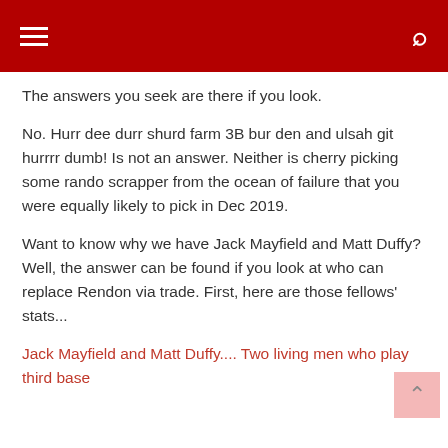☰  🔍
The answers you seek are there if you look.
No. Hurr dee durr shurd farm 3B bur den and ulsah git hurrrr dumb! Is not an answer. Neither is cherry picking some rando scrapper from the ocean of failure that you were equally likely to pick in Dec 2019.
Want to know why we have Jack Mayfield and Matt Duffy? Well, the answer can be found if you look at who can replace Rendon via trade. First, here are those fellows' stats...
Jack Mayfield and Matt Duffy.... Two living men who play third base